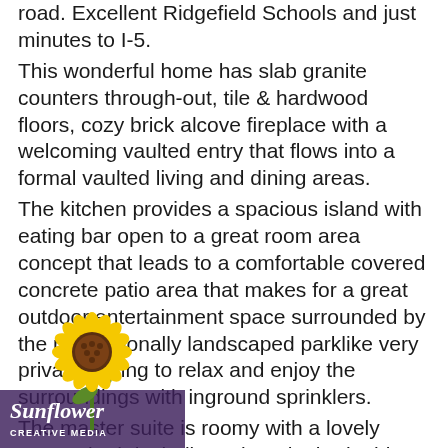road. Excellent Ridgefield Schools and just minutes to I-5.
This wonderful home has slab granite counters through-out, tile & hardwood floors, cozy brick alcove fireplace with a welcoming vaulted entry that flows into a formal vaulted living and dining areas.
The kitchen provides a spacious island with eating bar open to a great room area concept that leads to a comfortable covered concrete patio area that makes for a great outdoor entertainment space surrounded by the professionally landscaped parklike very private setting to relax and enjoy the surroundings with inground sprinklers.
The master suite is roomy with a lovely master bath including a jetted tub, double sinks, large tiled shower, k-in closet. The primary suite has a slider with or two that is perfect for morning coffee visits. me provides 3 bedrooms plus a vaulted office that has French doors and a built-in bookshelf; a great
[Figure (logo): Sunflower Creative Media logo - sunflower illustration with company name]